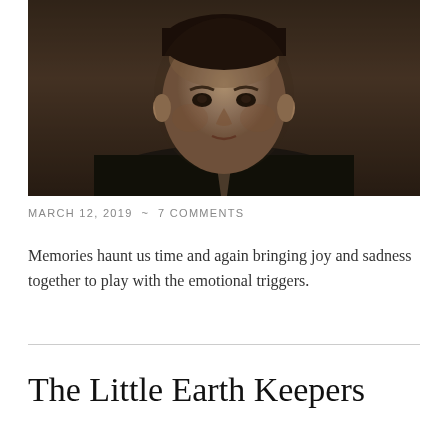[Figure (photo): Black and white / sepia portrait photo of a man in a dark suit and tie, cropped to show from roughly the collar up, close-up formal pose.]
MARCH 12, 2019  ~  7 COMMENTS
Memories haunt us time and again bringing joy and sadness together to play with the emotional triggers.
The Little Earth Keepers